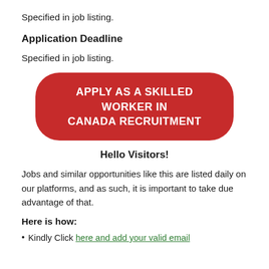Specified in job listing.
Application Deadline
Specified in job listing.
[Figure (other): Red rounded rectangle button with white text reading APPLY AS A SKILLED WORKER IN CANADA RECRUITMENT]
Hello Visitors!
Jobs and similar opportunities like this are listed daily on our platforms, and as such, it is important to take due advantage of that.
Here is how:
Kindly Click here and add your valid email